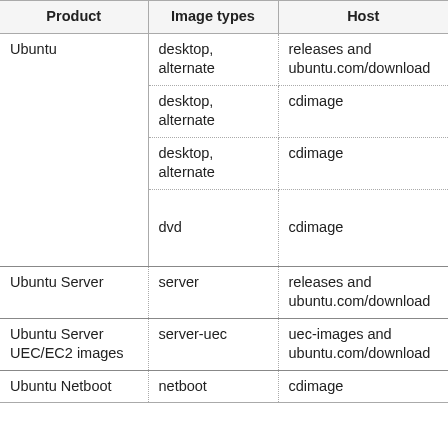| Product | Image types | Host |
| --- | --- | --- |
| Ubuntu | desktop, alternate | releases and ubuntu.com/download |
|  | desktop, alternate | cdimage |
|  | desktop, alternate | cdimage |
|  | dvd | cdimage |
| Ubuntu Server | server | releases and ubuntu.com/download |
| Ubuntu Server UEC/EC2 images | server-uec | uec-images and ubuntu.com/download |
| Ubuntu Netboot | netboot | cdimage |